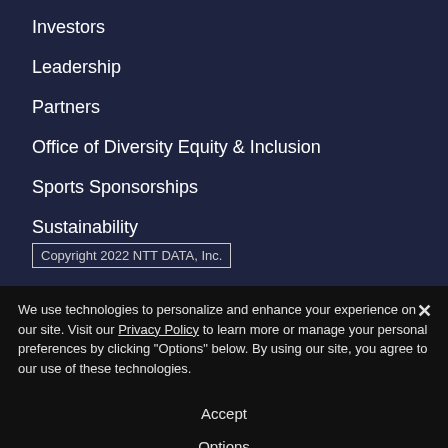Investors
Leadership
Partners
Office of Diversity Equity & Inclusion
Sports Sponsorships
Sustainability
Copyright 2022 NTT DATA, Inc.
We use technologies to personalize and enhance your experience on our site. Visit our Privacy Policy to learn more or manage your personal preferences by clicking "Options" below. By using our site, you agree to our use of these technologies.
Accept
Options